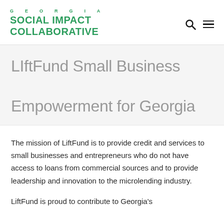GEORGIA SOCIAL IMPACT COLLABORATIVE
LIftFund Small Business Empowerment for Georgia
The mission of LiftFund is to provide credit and services to small businesses and entrepreneurs who do not have access to loans from commercial sources and to provide leadership and innovation to the microlending industry.
LiftFund is proud to contribute to Georgia's